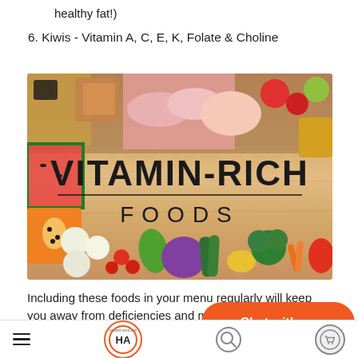healthy fat!)
6. Kiwis - Vitamin A, C, E, K, Folate & Choline
[Figure (photo): Vitamin-Rich Foods infographic image showing various fresh foods including meat, fish, vegetables, and fruits arranged around a wooden board with text 'VITAMIN-RICH FOODS' in bold letters]
Including these foods in your menu regularly will keep you away from deficiencies and maint… inner chemistry.
Navigation bar with hamburger menu, HA logo, chat with us button, search and cart icons